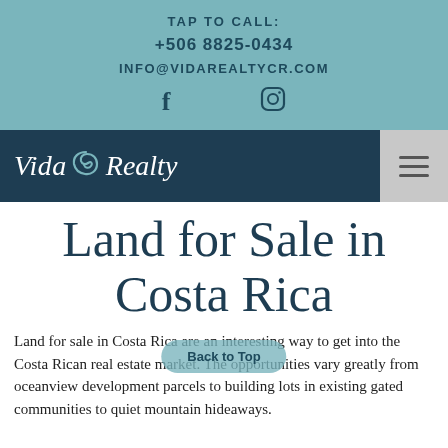TAP TO CALL:
+506 8825-0434
INFO@VIDAREALTYCR.COM
[Figure (logo): Vida Realty logo with swirl emblem in white text on dark navy background, with hamburger menu button on the right]
Land for Sale in Costa Rica
Land for sale in Costa Rica are an interesting way to get into the Costa Rican real estate market. The opportunities vary greatly from oceanview development parcels to building lots in existing gated communities to quiet mountain hideaways.